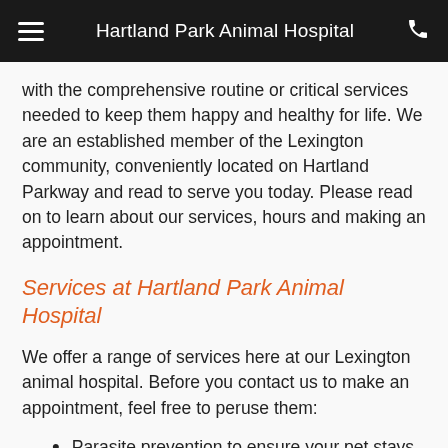Hartland Park Animal Hospital
with the comprehensive routine or critical services needed to keep them happy and healthy for life. We are an established member of the Lexington community, conveniently located on Hartland Parkway and read to serve you today. Please read on to learn about our services, hours and making an appointment.
Services at Hartland Park Animal Hospital
We offer a range of services here at our Lexington animal hospital. Before you contact us to make an appointment, feel free to peruse them:
Parasite prevention to ensure your pet stays healthy and parasite-free for life
Pet dental care, including a meeting with our vet to